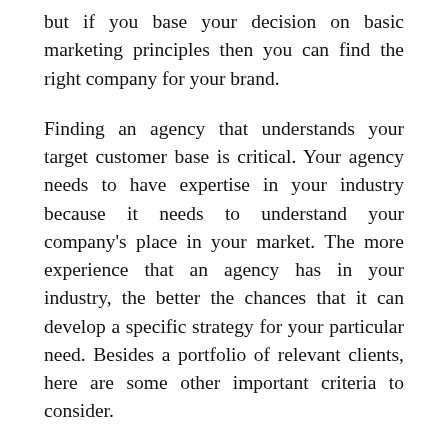but if you base your decision on basic marketing principles then you can find the right company for your brand.
Finding an agency that understands your target customer base is critical. Your agency needs to have expertise in your industry because it needs to understand your company's place in your market. The more experience that an agency has in your industry, the better the chances that it can develop a specific strategy for your particular need. Besides a portfolio of relevant clients, here are some other important criteria to consider.
Continue reading